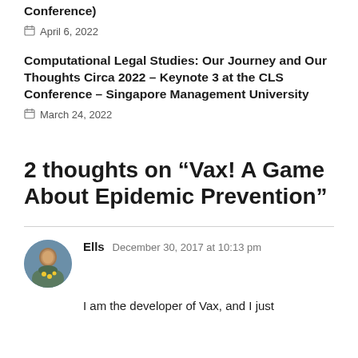Conference)
April 6, 2022
Computational Legal Studies: Our Journey and Our Thoughts Circa 2022 – Keynote 3 at the CLS Conference – Singapore Management University
March 24, 2022
2 thoughts on “Vax! A Game About Epidemic Prevention”
Ells  December 30, 2017 at 10:13 pm
I am the developer of Vax, and I just